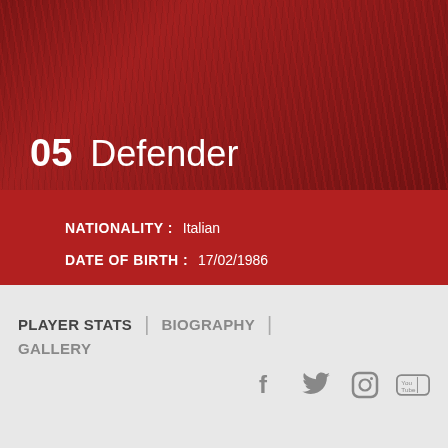[Figure (photo): Red background with grass texture at the top of the page]
05  Defender
NATIONALITY :  Italian
DATE OF BIRTH :  17/02/1986
HEIGHT :  175cm
WEIGHT :  76kg
PLAYER STATS  |  BIOGRAPHY  |  GALLERY
[Figure (illustration): Social media icons: Facebook, Twitter, Instagram, YouTube]